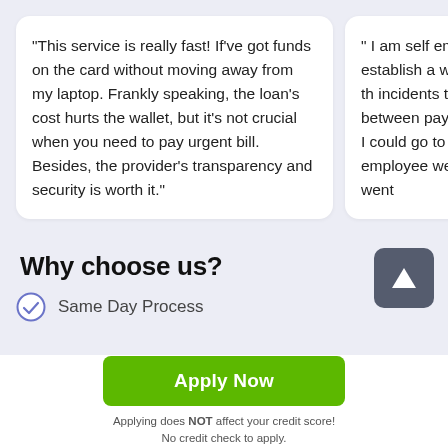“This service is really fast! If’ve got funds on the card without moving away from my laptop. Frankly speaking, the loan’s cost hurts the wallet, but it’s not crucial when you need to pay urgent bill. Besides, the provider’s transparency and security is worth it.”
“ I am self employed trying to establish a with you so when th incidents that actua between pay period t a place I could go to which my employee week ($2000). I went
Why choose us?
Same Day Process
Apply Now
Applying does NOT affect your credit score!
No credit check to apply.